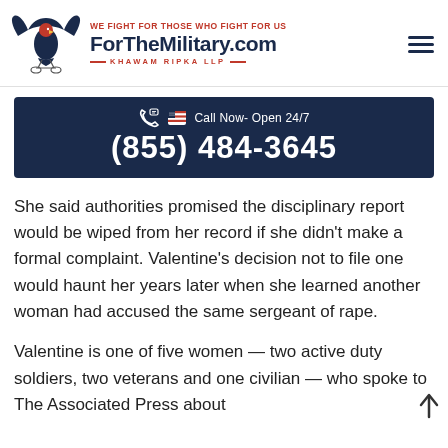WE FIGHT FOR THOSE WHO FIGHT FOR US | ForTheMilitary.com | KHAWAM RIPKA LLP
[Figure (infographic): Call Now banner with phone number: Call Now- Open 24/7 (855) 484-3645]
She said authorities promised the disciplinary report would be wiped from her record if she didn't make a formal complaint. Valentine's decision not to file one would haunt her years later when she learned another woman had accused the same sergeant of rape.
Valentine is one of five women — two active duty soldiers, two veterans and one civilian — who spoke to The Associated Press about